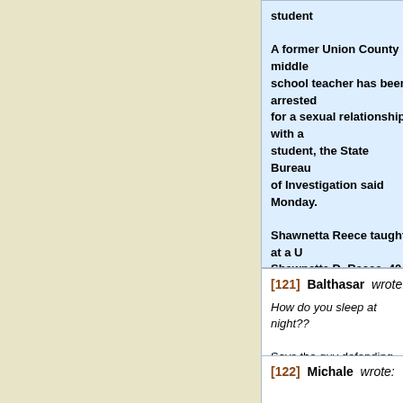student
A former Union County middle school teacher has been arrested for a sexual relationship with a student, the State Bureau of Investigation said Monday.
Shawnetta Reece taught at a Union County middle school. Shawnetta D. Reece, 40, of Bla... had a sexual relationship with a student in 2013, the agency said. http://www.foxnews.com/us/2017/... for-sex-romp-with-teen-boy-stud...
NOT-45 supporter.... :^\/
[121] Balthasar wrote:
How do you sleep at night??
Says the guy defending Nazis.
I'm done with this bullshit conve...
[122] Michale wrote: